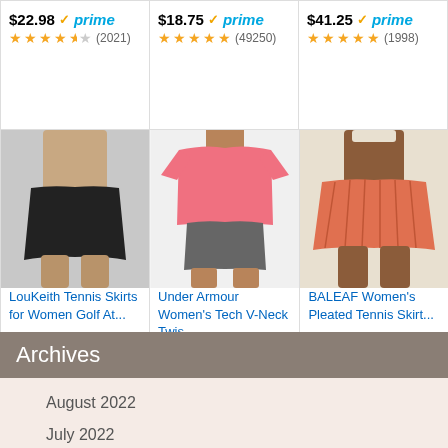[Figure (screenshot): Amazon ad grid showing 6 product listings (top row: 3 price+rating cells, bottom row: 3 product images with titles, prices, ratings). Top row shows $22.98 prime (2021), $18.75 prime (49250), $41.25 prime (1998). Bottom row: LouKeith Tennis Skirts $24.99 prime (1212), Under Armour Women's Tech V-Neck Twis... $19.99 prime (11998), BALEAF Women's Pleated Tennis Skirt... $26.99 prime (622).]
Ads by Amazon
Archives
August 2022
July 2022